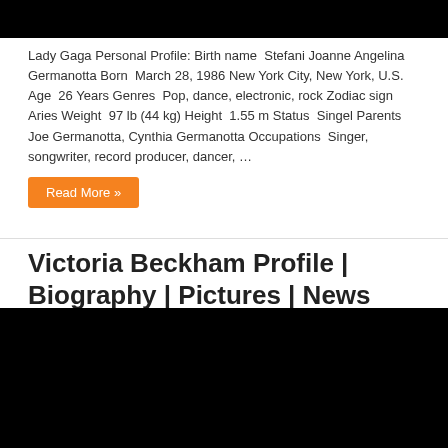[Figure (photo): Black image bar at top of page (Lady Gaga photo, cropped/black)]
Lady Gaga Personal Profile: Birth name  Stefani Joanne Angelina Germanotta Born  March 28, 1986 New York City, New York, U.S. Age  26 Years Genres  Pop, dance, electronic, rock Zodiac sign  Aries Weight  97 lb (44 kg) Height  1.55 m Status  Singel Parents  Joe Germanotta, Cynthia Germanotta Occupations  Singer, songwriter, record producer, dancer, …
Read More »
Victoria Beckham Profile | Biography | Pictures | News
Actress
[Figure (photo): Black image bar at bottom of page (Victoria Beckham photo, cropped/black)]